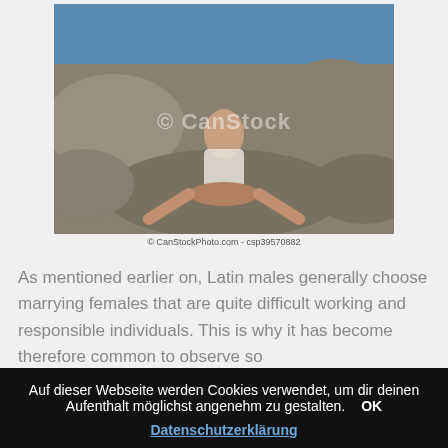[Figure (photo): A young woman with long dark hair sits on rocks near water, wearing a white top and dark shorts. CanStock watermark visible. © CanStockPhoto.com - csp39570882]
© CanStockPhoto.com - csp39570882
As mentioned earlier on, Latin males generally choose marrying females that are quite difficult working and responsible individuals. This is why it has become therefore common to observe so
Auf dieser Webseite werden Cookies verwendet, um dir deinen Aufenthalt möglichst angenehm zu gestalten.  OK
Datenschutzerklärung